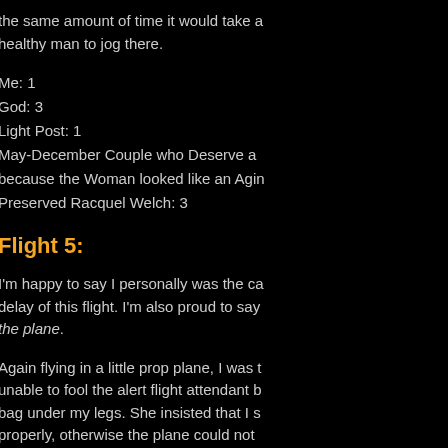the same amount of time it would take a healthy man to jog there.
Me: 1
God: 3
Light Post: 1
May-December Couple who Deserve a because the Woman looked like an Aging Preserved Racquel Welch: 3
Flight 5:
I'm happy to say I personally was the cause of the delay of this flight. I'm also proud to say I made it on the plane.
Again flying in a little prop plane, I was this time unable to fool the alert flight attendant by putting my bag under my legs. She insisted that I stow my bag properly, otherwise the plane could not depart. When this proved impossible, she made my bag go to the back of the plane, where there were a few empty seats, and I was allowed to stay in my seat if I buckled my carry-on bag next to me as if it were a guy.
Next, it was announced that the plane could not depart because according to their flight manifest, there should be 15 people on the plane, but according to their head count, there were 16 passengers and they had to resolve the discrepancy.